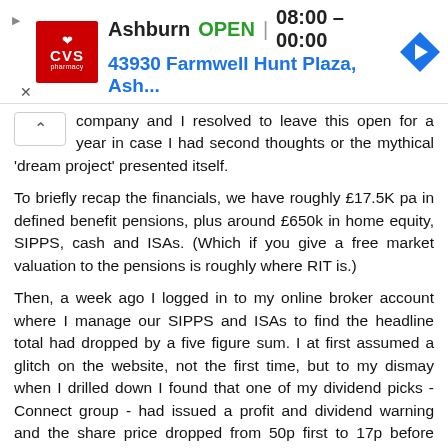[Figure (screenshot): CVS Pharmacy advertisement banner showing Ashburn location OPEN 08:00 – 00:00, address 43930 Farmwell Hunt Plaza, Ash..., with CVS logo and navigation arrow icon]
company and I resolved to leave this open for a year in case I had second thoughts or the mythical 'dream project' presented itself.
To briefly recap the financials, we have roughly £17.5K pa in defined benefit pensions, plus around £650k in home equity, SIPPS, cash and ISAs. (Which if you give a free market valuation to the pensions is roughly where RIT is.)
Then, a week ago I logged in to my online broker account where I manage our SIPPS and ISAs to find the headline total had dropped by a five figure sum. I at first assumed a glitch on the website, not the first time, but to my dismay when I drilled down I found that one of my dividend picks - Connect group - had issued a profit and dividend warning and the share price dropped from 50p first to 17p before rebounding to 30p. Sheer hubris, I had been tempted by a over-large dividend and broken my own rules on weighting